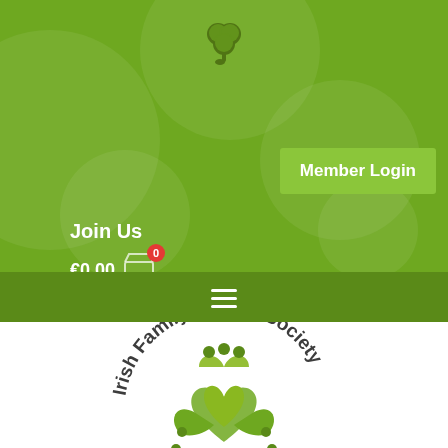[Figure (screenshot): Irish Family History Society website header with green background, shamrock logo, Member Login button, Join Us text, shopping cart showing €0.00, hamburger menu, and circular IFHS logo on white background]
Member Login
Join Us
€0.00
[Figure (logo): Irish Family History Society circular logo with shamrock and people figures, text reading Irish Family History Society around the circle]